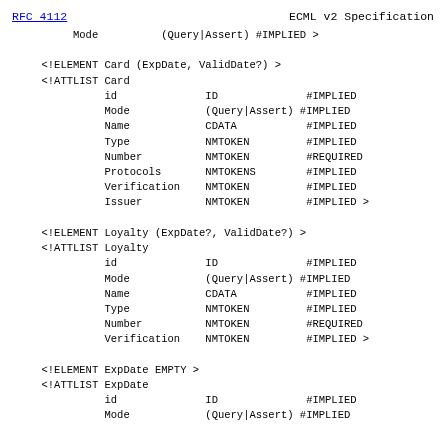RFC 4112    ECML v2 Specification
Mode        (Query|Assert) #IMPLIED >

<!ELEMENT Card (ExpDate, ValidDate?) >
<!ATTLIST Card
          id              ID              #IMPLIED
          Mode            (Query|Assert) #IMPLIED
          Name            CDATA           #IMPLIED
          Type            NMTOKEN         #IMPLIED
          Number          NMTOKEN         #REQUIRED
          Protocols       NMTOKENS        #IMPLIED
          Verification    NMTOKEN         #IMPLIED
          Issuer          NMTOKEN         #IMPLIED >

<!ELEMENT Loyalty (ExpDate?, ValidDate?) >
<!ATTLIST Loyalty
          id              ID              #IMPLIED
          Mode            (Query|Assert) #IMPLIED
          Name            CDATA           #IMPLIED
          Type            NMTOKEN         #IMPLIED
          Number          NMTOKEN         #REQUIRED
          Verification    NMTOKEN         #IMPLIED >

<!ELEMENT ExpDate EMPTY >
<!ATTLIST ExpDate
          id              ID              #IMPLIED
          Mode            (Query|Assert) #IMPLIED